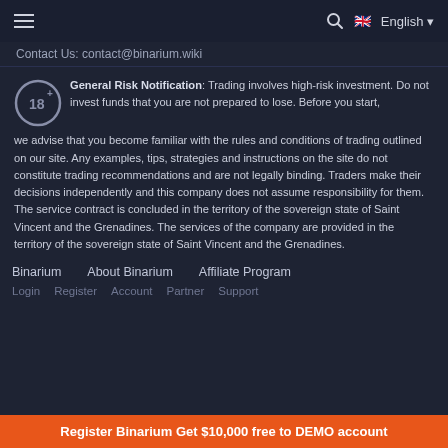Contact Us: contact@binarium.wiki
General Risk Notification: Trading involves high-risk investment. Do not invest funds that you are not prepared to lose. Before you start, we advise that you become familiar with the rules and conditions of trading outlined on our site. Any examples, tips, strategies and instructions on the site do not constitute trading recommendations and are not legally binding. Traders make their decisions independently and this company does not assume responsibility for them. The service contract is concluded in the territory of the sovereign state of Saint Vincent and the Grenadines. The services of the company are provided in the territory of the sovereign state of Saint Vincent and the Grenadines.
Binarium   About Binarium   Affiliate Program
Login   Register   Account   Partner   Support
Register Binarium Get $10,000 free to DEMO account